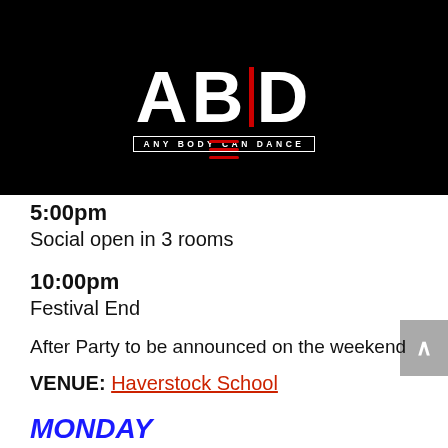[Figure (logo): ABCD - Any Body Can Dance logo in white on black background]
5:00pm
Social open in 3 rooms
10:00pm
Festival End
After Party to be announced on the weekend
VENUE: Haverstock School
MONDAY